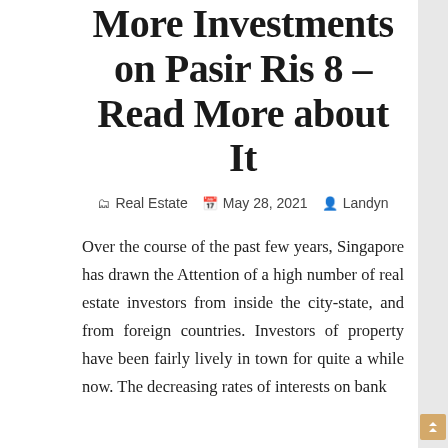More Investments on Pasir Ris 8 – Read More about It
Real Estate  May 28, 2021  Landyn
Over the course of the past few years, Singapore has drawn the Attention of a high number of real estate investors from inside the city-state, and from foreign countries. Investors of property have been fairly lively in town for quite a while now. The decreasing rates of interests on bank